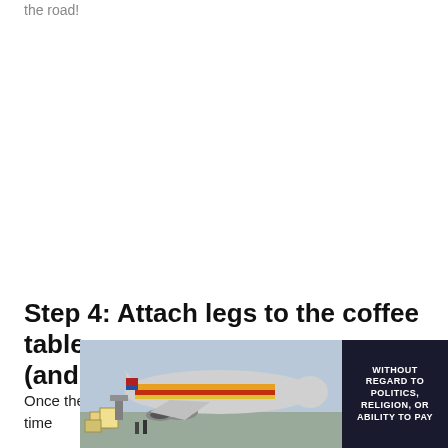the road!
Step 4: Attach legs to the coffee table (and level it!)
Once the table top is finished and attached to the base, it's time
[Figure (photo): Advertisement banner showing an airplane being loaded with cargo, with a dark box overlay reading 'WITHOUT REGARD TO POLITICS, RELIGION, OR ABILITY TO PAY']